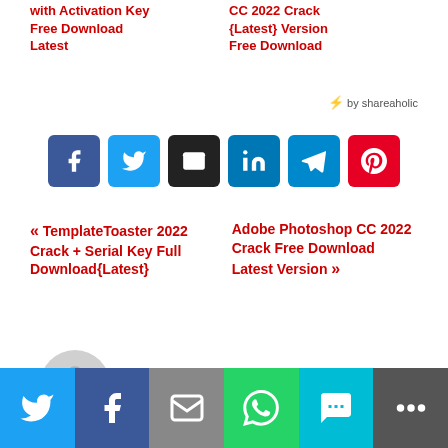with Activation Key Free Download Latest
CC 2022 Crack {Latest} Version Free Download
⚡ by shareaholic
[Figure (infographic): Social share buttons: Facebook, Twitter, Email, LinkedIn, Telegram, Pinterest]
« TemplateToaster 2022 Crack + Serial Key Full Download{Latest}
Adobe Photoshop CC 2022 Crack Free Download Latest Version »
By admin
[Figure (infographic): Bottom share bar: Twitter, Facebook, Email, WhatsApp, SMS, More]